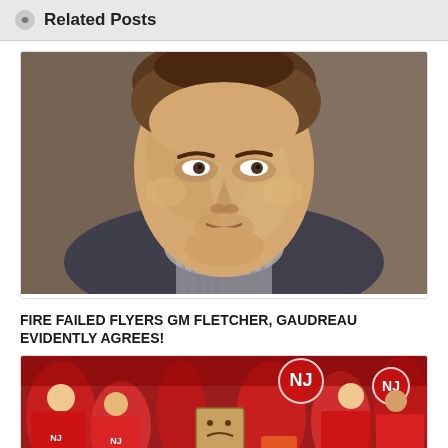Related Posts
[Figure (photo): Close-up headshot of a middle-aged man with brown hair, looking serious, wearing a striped shirt]
FIRE FAILED FLYERS GM FLETCHER, GAUDREAU EVIDENTLY AGREES!
[Figure (photo): Hockey arena crowd scene with fans wearing New Jersey Devils red jerseys; one person in the center is wearing a cardboard box with a sad face drawn on it over their head]